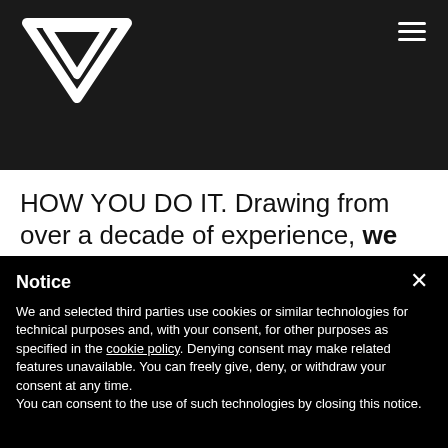[Figure (logo): White triangular chevron/arrow logo on dark background]
HOW YOU DO IT. Drawing from over a decade of experience, we help you build a consistent, trackable business model that accelerates
Notice
We and selected third parties use cookies or similar technologies for technical purposes and, with your consent, for other purposes as specified in the cookie policy. Denying consent may make related features unavailable. You can freely give, deny, or withdraw your consent at any time.
You can consent to the use of such technologies by closing this notice.